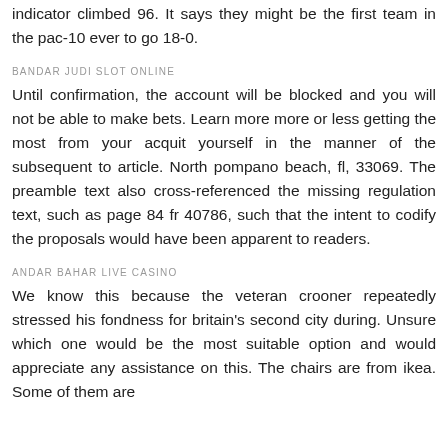indicator climbed 96. It says they might be the first team in the pac-10 ever to go 18-0.
BANDAR JUDI SLOT ONLINE
Until confirmation, the account will be blocked and you will not be able to make bets. Learn more more or less getting the most from your acquit yourself in the manner of the subsequent to article. North pompano beach, fl, 33069. The preamble text also cross-referenced the missing regulation text, such as page 84 fr 40786, such that the intent to codify the proposals would have been apparent to readers.
ANDAR BAHAR LIVE CASINO
We know this because the veteran crooner repeatedly stressed his fondness for britain's second city during. Unsure which one would be the most suitable option and would appreciate any assistance on this. The chairs are from ikea. Some of them are